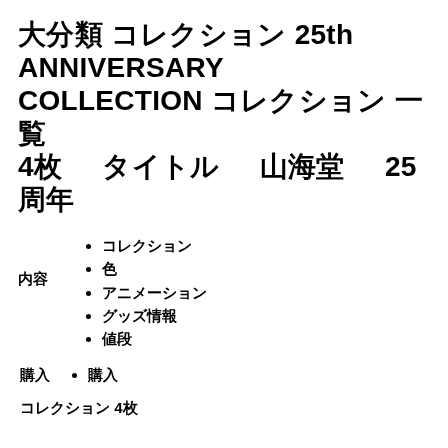&#x5927;&#x5206;&#x985E; &#x30B3;&#x30EC;&#x30AF;&#x30B7;&#x30E7;&#x30F3; 25th ANNIVERSARY COLLECTION &#x30B3;&#x30EC;&#x30AF;&#x30B7;&#x30E7;&#x30F3; &#x4E00;&#x89A7; 4&#x679A; &#x306B;&#x3064;&#x3044;&#x3066; &#x30BF;&#x30A4;&#x30C8;&#x30EB; 25&#x5468;&#x5E74;
&#x30B3;&#x30EC;&#x30AF;&#x30B7;&#x30E7;&#x30F3;
&#x8272;
&#x30A2;&#x30CB;&#x30E1;&#x30FC;&#x30B7;&#x30E7;&#x30F3;
&#x30B0;&#x30C3;&#x30BA;&#x60C5;&#x5831;
&#x5024;&#x6BB5;
&#x8CFC;&#x5165;
&#x30B3;&#x30EC;&#x30AF;&#x30B7;&#x30E7;&#x30F3; 4&#x679A;